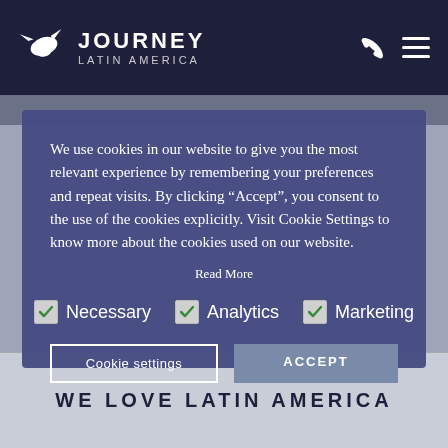[Figure (logo): Journey Latin America logo with bird icon and text]
We use cookies in our website to give you the most relevant experience by remembering your preferences and repeat visits. By clicking “Accept”, you consent to the use of the cookies explicitly. Visit Cookie Settings to know more about the cookies used on our website.
Read More
Necessary   Analytics   Marketing
Cookie settings   ACCEPT
WE LOVE LATIN AMERICA